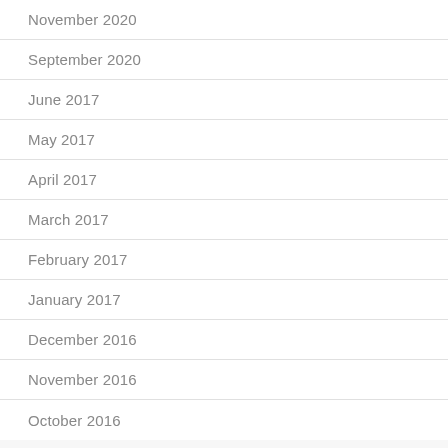November 2020
September 2020
June 2017
May 2017
April 2017
March 2017
February 2017
January 2017
December 2016
November 2016
October 2016